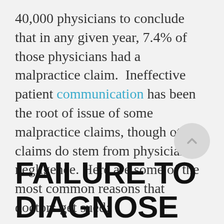40,000 physicians to conclude that in any given year, 7.4% of those physicians had a malpractice claim.  Ineffective patient communication has been the root of issue of some malpractice claims, though other claims do stem from physician negligence. Here are some of the most common reasons that doctors get sued:
FAILURE TO DIAGNOSE